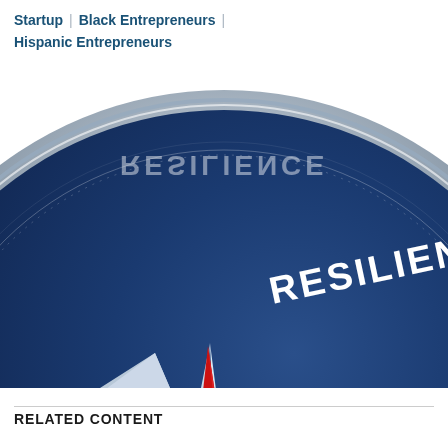Startup | Black Entrepreneurs | Hispanic Entrepreneurs
[Figure (photo): Close-up photo of a blue compass with the word RESILIENCE prominently displayed on the face, compass needle pointing toward the text, metallic chrome ring around the edge.]
RELATED CONTENT